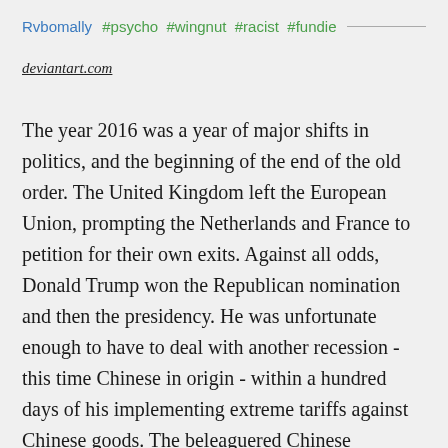Rvbomally #psycho #wingnut #racist #fundie
deviantart.com
The year 2016 was a year of major shifts in politics, and the beginning of the end of the old order. The United Kingdom left the European Union, prompting the Netherlands and France to petition for their own exits. Against all odds, Donald Trump won the Republican nomination and then the presidency. He was unfortunate enough to have to deal with another recession - this time Chinese in origin - within a hundred days of his implementing extreme tariffs against Chinese goods. The beleaguered Chinese Communist Party decided to put the blame on the Americans, escalating tensions in the South China Sea, on the Korean Peninsula, and even against Russia. This policy proved unwise, as Trump was unwilling to back down and responded to